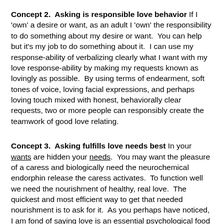Concept 2.  Asking is responsible love behavior If I 'own' a desire or want, as an adult I 'own' the responsibility to do something about my desire or want.  You can help but it's my job to do something about it.  I can use my response-ability of verbalizing clearly what I want with my love response-ability by making my requests known as lovingly as possible.  By using terms of endearment, soft tones of voice, loving facial expressions, and perhaps loving touch mixed with honest, behaviorally clear requests, two or more people can responsibly create the teamwork of good love relating.
Concept 3.  Asking fulfills love needs best In your wants are hidden your needs.  You may want the pleasure of a caress and biologically need the neurochemical endorphin release the caress activates.  To function well we need the nourishment of healthy, real love.  The quickest and most efficient way to get that needed nourishment is to ask for it.  As you perhaps have noticed, I am fond of saying love is an essential psychological food that nourishes us pretty much like healthy, physical food does.  Love energizes us and